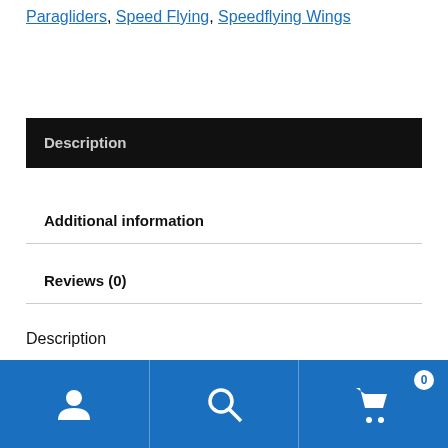Paragliders, Speed Flying, Speedflying Wings
Description
Additional information
Reviews (0)
Description
Navigation bar with user, search, and cart icons